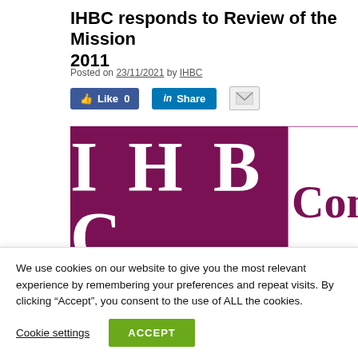IHBC responds to Review of the Mission 2011
Posted on 23/11/2021 by IHBC
[Figure (logo): IHBC logo banner with dark magenta/purple background showing 'IHBC' in large white serif letters, and 'Cons' text in magenta on white right section]
The IHBC has submitted its response on Review of the Mission 2011 noting its position of the content f...
We use cookies on our website to give you the most relevant experience by remembering your preferences and repeat visits. By clicking “Accept”, you consent to the use of ALL the cookies.